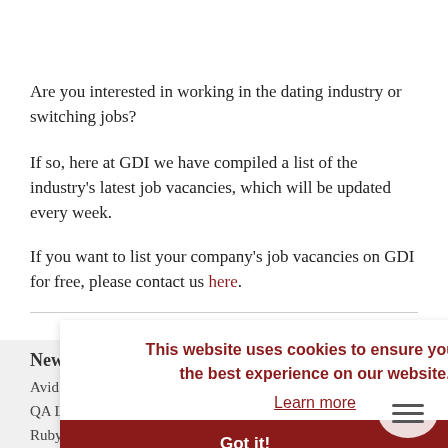Are you interested in working in the dating industry or switching jobs?
If so, here at GDI we have compiled a list of the industry's latest job vacancies, which will be updated every week.
If you want to list your company's job vacancies on GDI for free, please contact us here.
New Jobs Added This Week
Avid Life Media
QA Lead, Mobile
Ruby on Rails Technical Lead
Senior Front-End Developer
Senior iOS Developer and more…
This website uses cookies to ensure you get the best experience on our website.
Learn more
Got it!